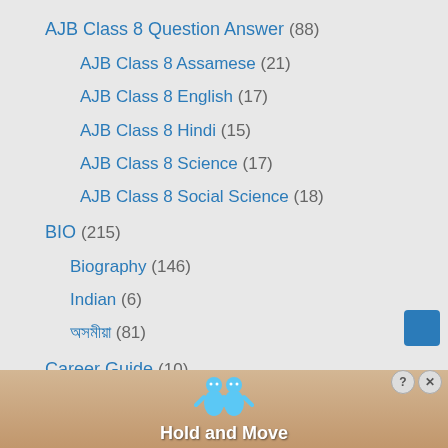AJB Class 8 Question Answer (88)
AJB Class 8 Assamese (21)
AJB Class 8 English (17)
AJB Class 8 Hindi (15)
AJB Class 8 Science (17)
AJB Class 8 Social Science (18)
BIO (215)
Biography (146)
Indian (6)
অসমীয়া (81)
Career Guide (10)
[Figure (screenshot): Advertisement banner at bottom with 'Hold and Move' text and character icons]